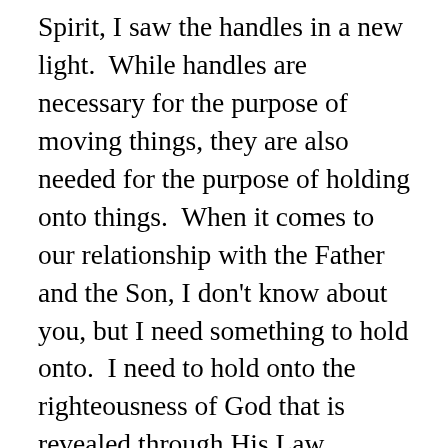Spirit, I saw the handles in a new light.  While handles are necessary for the purpose of moving things, they are also needed for the purpose of holding onto things.  When it comes to our relationship with the Father and the Son, I don't know about you, but I need something to hold onto.  I need to hold onto the righteousness of God that is revealed through His Law because it's through the Law that I also receive grace. I need to hang onto the promise that God will always meet my needs, for He is Jehovah-jireh, my Provider.  I need to grasp the truth that in His hands there is deliverance.  Just as He used the rod in Moses' hands to part the Red Sea, so too will He part the waters for me (Is. 43:2).  I